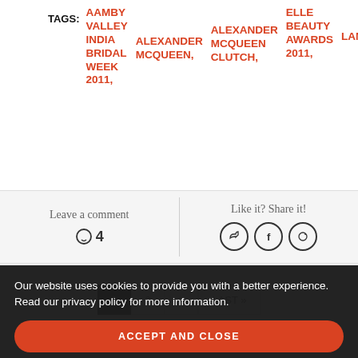TAGS: AAMBY VALLEY INDIA BRIDAL WEEK 2011, ALEXANDER MCQUEEN, ALEXANDER MCQUEEN CLUTCH, ELLE BEAUTY AWARDS 2011, LANVIN, LA DR...
Leave a comment   ◯ 4
Like it? Share it!
1  2  >  LAST »
Our website uses cookies to provide you with a better experience. Read our privacy policy for more information.
ACCEPT AND CLOSE
ABOUT   AD SPACE   DISCLAIMER